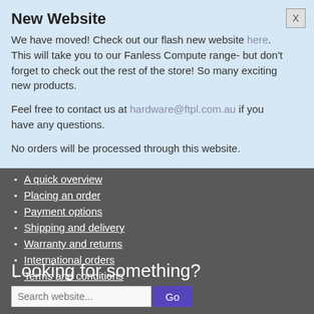New Website
We have moved! Check out our flash new website here. This will take you to our Fanless Compute range- but don't forget to check out the rest of the store! So many exciting new products.
Feel free to contact us at hardware@ftpl.com.au if you have any questions.
No orders will be processed through this website.
A quick overview
Placing an order
Payment options
Shipping and delivery
Warranty and returns
International orders
Terms and conditions
Looking for something?